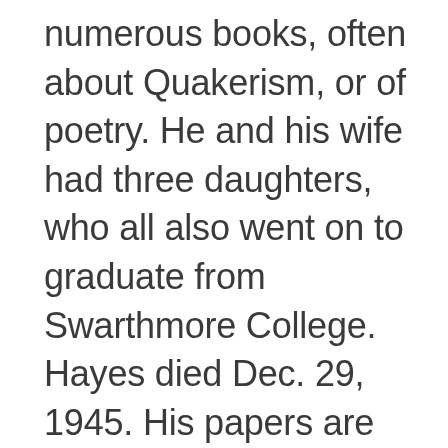numerous books, often about Quakerism, or of poetry. He and his wife had three daughters, who all also went on to graduate from Swarthmore College. Hayes died Dec. 29, 1945. His papers are held at the Friends Historical Library of Swarthmore College. The collection contains letters received by Hayes, various diaries, and other papers owned by Haynes.This edition is dedicated to Friends Meeting of